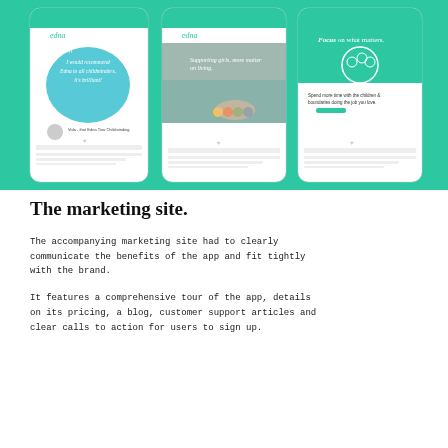[Figure (screenshot): Three mobile app screenshots shown on a teal/green background. Left: a testimonial screen showing a quote bubble with 'I would recommend Edna to all childminders, it's brilliant!' with an Edna branding header. Middle: a lifestyle photo of a child's hand with colorful objects with marketing overlay text 'Supporting girls, more matter on living.' Right: a screen with teal header 'Focus on what matters.' and circular icon with child illustration and text 'Spend more time with the children & boundaries doing the job you love.']
The marketing site.
The accompanying marketing site had to clearly communicate the benefits of the app and fit tightly with the brand.
It features a comprehensive tour of the app, details on its pricing, a blog, customer support articles and clear calls to action for users to sign up.